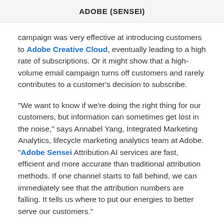ADOBE (SENSEI)
campaign was very effective at introducing customers to Adobe Creative Cloud, eventually leading to a high rate of subscriptions. Or it might show that a high-volume email campaign turns off customers and rarely contributes to a customer’s decision to subscribe.
“We want to know if we’re doing the right thing for our customers, but information can sometimes get lost in the noise,” says Annabel Yang, Integrated Marketing Analytics, lifecycle marketing analytics team at Adobe. “Adobe Sensei Attribution AI services are fast, efficient and more accurate than traditional attribution methods. If one channel starts to fall behind, we can immediately see that the attribution numbers are falling. It tells us where to put our energies to better serve our customers.”